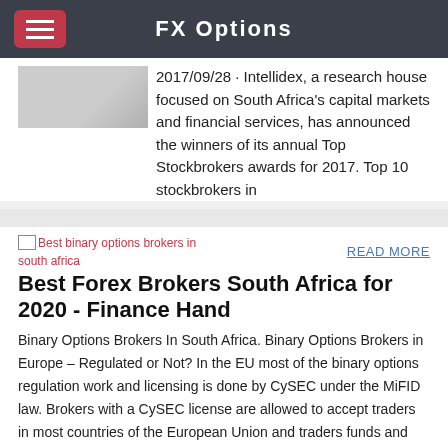FX Options
2017/09/28 · Intellidex, a research house focused on South Africa's capital markets and financial services, has announced the winners of its annual Top Stockbrokers awards for 2017. Top 10 stockbrokers in
[Figure (photo): Thumbnail image (broken/placeholder) for best binary options brokers in south africa]
READ MORE
Best Forex Brokers South Africa for 2020 - Finance Hand
Binary Options Brokers In South Africa. Binary Options Brokers in Europe – Regulated or Not? In the EU most of the binary options regulation work and licensing is done by CySEC under the MiFID law. Brokers with a CySEC license are allowed to accept traders in most countries of the European Union and traders funds and withdrawals are protected.